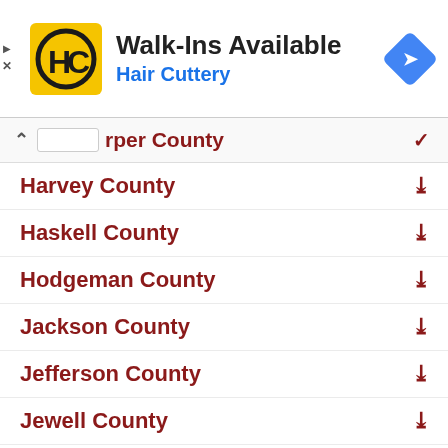[Figure (logo): Hair Cuttery advertisement banner with HC logo, 'Walk-Ins Available' text, and blue navigation arrow icon]
Harper County
Harvey County
Haskell County
Hodgeman County
Jackson County
Jefferson County
Jewell County
Johnson County
Kearny County
Kingman County